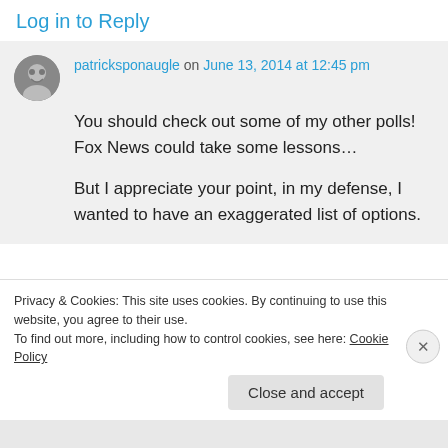Log in to Reply
patricksponaugle on June 13, 2014 at 12:45 pm
You should check out some of my other polls! Fox News could take some lessons…
But I appreciate your point, in my defense, I wanted to have an exaggerated list of options.
Privacy & Cookies: This site uses cookies. By continuing to use this website, you agree to their use.
To find out more, including how to control cookies, see here: Cookie Policy
Close and accept